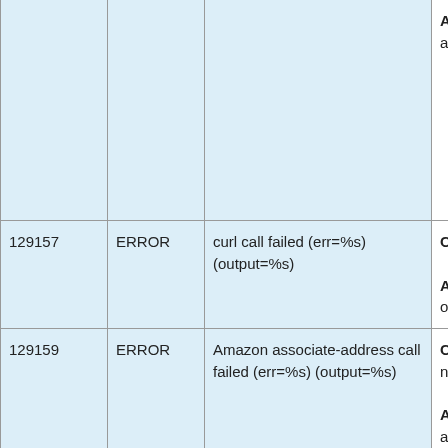| Code | Level | Message | Description |
| --- | --- | --- | --- |
|  |  |  | Action: Check the network and the Amazon console and retry the operation. |
| 129157 | ERROR | curl call failed (err=%s) (output=%s) | Cause: The EC2 instance metadata access failed.

Action: Check the Amazon console and retry the operation. |
| 129159 | ERROR | Amazon associate-address call failed (err=%s) (output=%s) | Cause: The EC2 API call failed, possibly due to a network issue.

Action: Check the network and the Amazon console and retry the operation. |